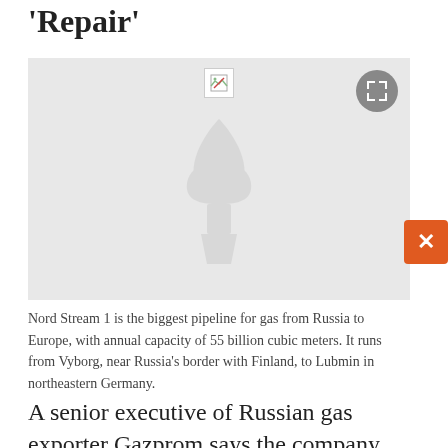'Repair'
[Figure (photo): Placeholder image area with watermark logo (torch/flame icon), a broken image icon in top center, and an expand button in top right corner.]
Nord Stream 1 is the biggest pipeline for gas from Russia to Europe, with annual capacity of 55 billion cubic meters. It runs from Vyborg, near Russia's border with Finland, to Lubmin in northeastern Germany.
A senior executive of Russian gas exporter Gazprom says the company won't resume gas